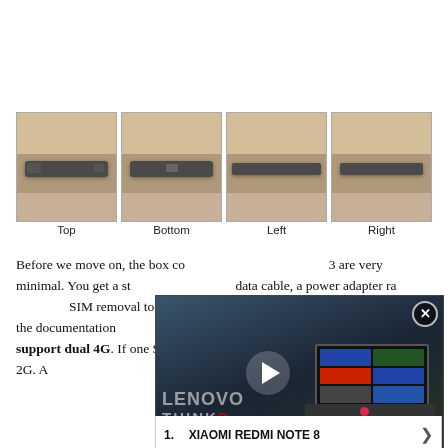[Figure (photo): Four side-view photos of a smartphone (Redmi Note 3) laid on a wooden surface, showing Top, Bottom, Left, and Right edges respectively.]
Top    Bottom    Left    Right
Before we move on, the box contents for the Redmi Note 3 are very minimal. You get a standard micro USB data cable, a power adapter rated at 5V/2A, a SIM removal tool and some documentation. There's a message in the documentation that the important bit is that the Redmi Note 3 does not support dual 4G. If one SIM has 4G enabled, the other SIM is restricted to 2G. Also, the Redmi Note 3 doesn't have NFC.
[Figure (screenshot): Floating video player overlay showing a Lenovo ThinkPad laptop being reviewed, with play button, video controls, a close button, and an ad search bar below reading 'Search for | Inspired Today' with item '1. XIAOMI REDMI NOTE 8'.]